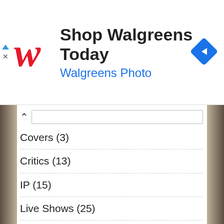[Figure (screenshot): Walgreens advertisement banner with red cursive W logo, text 'Shop Walgreens Today' and 'Walgreens Photo', and a blue diamond navigation icon.]
Covers (3)
Critics (13)
IP (15)
Live Shows (25)
Music Industry (79)
Music Technology (35)
OT? (11)
PoOPlists (532)